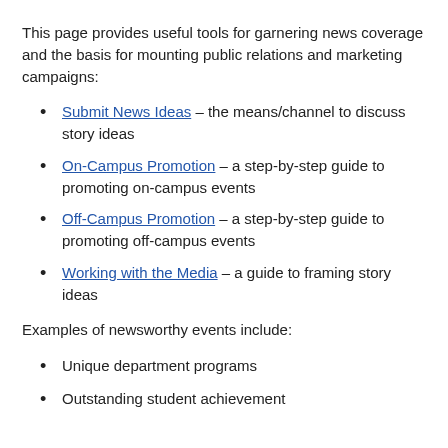This page provides useful tools for garnering news coverage and the basis for mounting public relations and marketing campaigns:
Submit News Ideas – the means/channel to discuss story ideas
On-Campus Promotion – a step-by-step guide to promoting on-campus events
Off-Campus Promotion – a step-by-step guide to promoting off-campus events
Working with the Media – a guide to framing story ideas
Examples of newsworthy events include:
Unique department programs
Outstanding student achievement